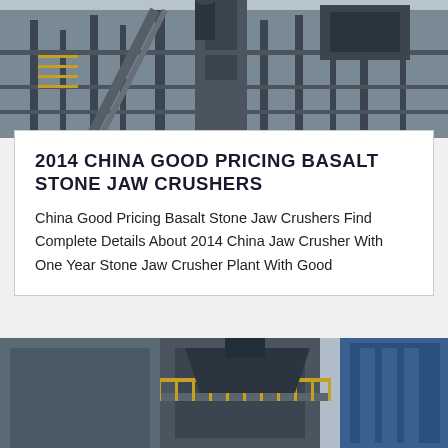[Figure (photo): Industrial basalt stone jaw crusher plant with steel framework, conveyor structures, silos, and scaffolding — viewed from exterior, overcast sky background.]
2014 CHINA GOOD PRICING BASALT STONE JAW CRUSHERS
China Good Pricing Basalt Stone Jaw Crushers Find Complete Details About 2014 China Jaw Crusher With One Year Stone Jaw Crusher Plant With Good
[Figure (photo): Large industrial jaw crusher plant structure photographed from below, showing steel frame, access platforms with yellow railings, and blue structural panels on right side.]